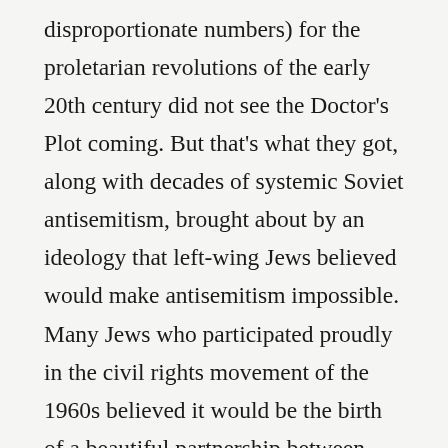disproportionate numbers) for the proletarian revolutions of the early 20th century did not see the Doctor's Plot coming. But that's what they got, along with decades of systemic Soviet antisemitism, brought about by an ideology that left-wing Jews believed would make antisemitism impossible. Many Jews who participated proudly in the civil rights movement of the 1960s believed it would be the birth of a beautiful partnership between Jews and African Americans. But, as Joshua Muravchik pointedly writes here, the friendship hasn't always been reciprocated and has often been betrayed. More recently, Jews are beginning to see how social justice concepts associated with critical race